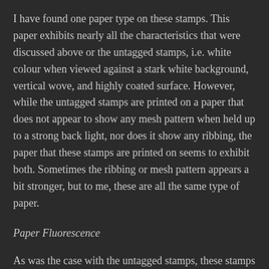I have found one paper type on these stamps. This paper exhibits nearly all the characteristics that were discussed above or the untagged stamps, i.e. white colour when viewed against a stark white background, vertical wove, and highly coated surface. However, while the untagged stamps are printed on a paper that does not appear to show any mesh pattern when held up to a strong back light, nor does it show any ribbing, the paper that these stamps are printed on seems to exhibit both. Sometimes the ribbing or mesh pattern appears a bit stronger, but to me, these are all the same type of paper.
Paper Fluorescence
As was the case with the untagged stamps, these stamps are reported to exist only on hibrite paper. In terms of the 0-12 brightness scale that I mentioned above I have found three levels of brightness, being 12, 11 and 10. 10 would correspond